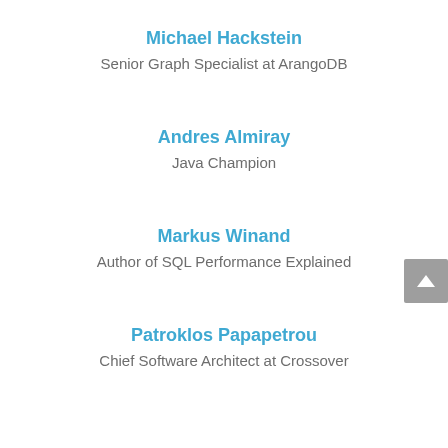Michael Hackstein
Senior Graph Specialist at ArangoDB
Andres Almiray
Java Champion
Markus Winand
Author of SQL Performance Explained
Patroklos Papapetrou
Chief Software Architect at Crossover